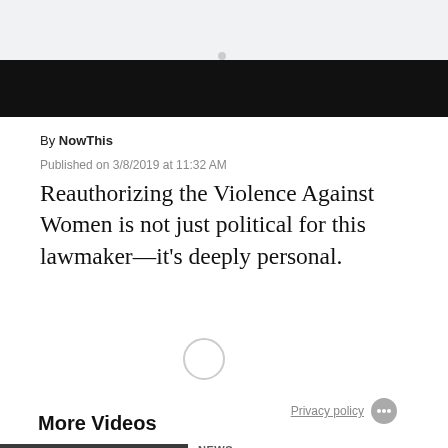[Figure (screenshot): Dark navigation/header bar with a small dot visible at top center]
By NowThis
Published on 3/8/2019 at 11:32 AM
Reauthorizing the Violence Against Women is not just political for this lawmaker—it's deeply personal.
[Figure (other): Loading spinner circle in center of page]
Privacy policy
More Videos
NEWS
ACLU Lawyer Emerson Sykes Explains...
[Figure (photo): Video thumbnail showing crowd scene with yellow play button]